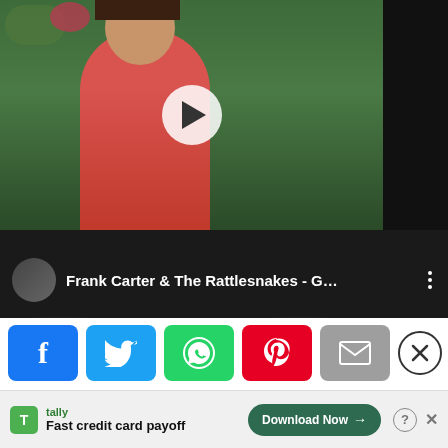he ahead, and the ay will leave you sprinting local tattoo shop.
[Figure (screenshot): Video thumbnail showing a woman in a pink shirt with a play button overlay, with a YouTube-style player bar at the bottom showing 'Frank Carter & The Rattlesnakes - G...']
[Figure (screenshot): Newsletter subscription popup with sandy/stone background texture, showing 'Subscribe to our newsletter' heading, email input field with 'Your e-mail address' placeholder, 'SIGN UP' button, and an X close button]
[Figure (screenshot): Social sharing buttons row: Facebook (blue), Twitter (blue), WhatsApp (green), Pinterest (red), Email (grey), with a close X button]
[Figure (screenshot): Advertisement banner for Tally app: 'Fast credit card payoff' with 'Download Now' button, help and close icons]